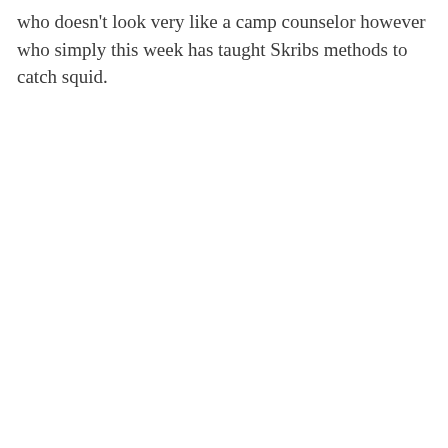who doesn't look very like a camp counselor however who simply this week has taught Skribs methods to catch squid.